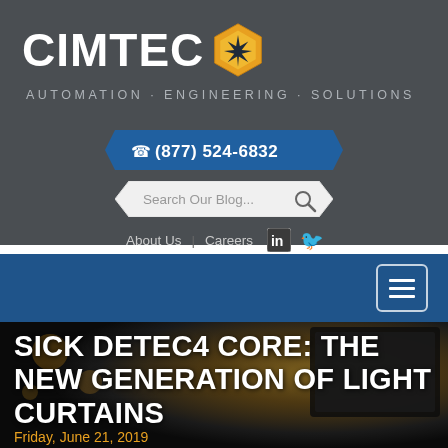[Figure (logo): CIMTEC logo with hexagon gear icon and text 'CIMTEC AUTOMATION · ENGINEERING · SOLUTIONS']
[Figure (infographic): Blue ribbon phone banner with phone icon and number (877) 524-6832]
[Figure (infographic): Search bar with text 'Search Our Blog...' and magnifying glass icon]
About Us  |  Careers
[Figure (infographic): LinkedIn and Twitter social media icons]
[Figure (infographic): Blue navigation bar with hamburger menu button]
SICK DETEC4 CORE: THE NEW GENERATION OF LIGHT CURTAINS
Friday, June 21, 2019